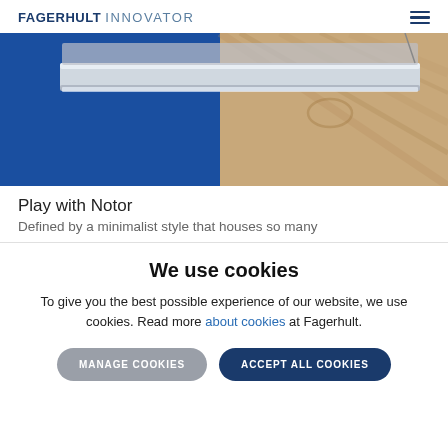FAGERHULT INNOVATOR
[Figure (photo): A linear lighting fixture suspended above a wall background split between royal blue on the left and light wood grain on the right]
Play with Notor
Defined by a minimalist style that houses so many
We use cookies
To give you the best possible experience of our website, we use cookies. Read more about cookies at Fagerhult.
MANAGE COOKIES   ACCEPT ALL COOKIES